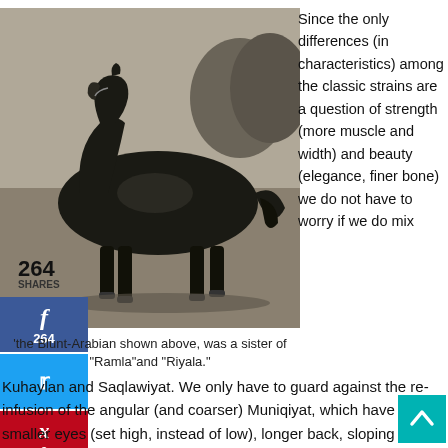[Figure (photo): Black and white photograph of a Blunt-Arabian horse standing in profile in a field.]
'the Blunt-Arabian shown above, was a sister of "Ramla"and "Riyala."
Since the only differences (in characteristics) among the classic strains are a question of strength (more muscle and width) and beauty (elegance, finer bone) we do not have to worry if we do mix Kuhaylan and Saqlawiyat. We only have to guard against the re-infusion of the angular (and coarser) Muniqiyat, which have smaller eyes (set high, instead of low), longer back, sloping hindquarters and narrow windpipe, but excellent legs and shoulders).